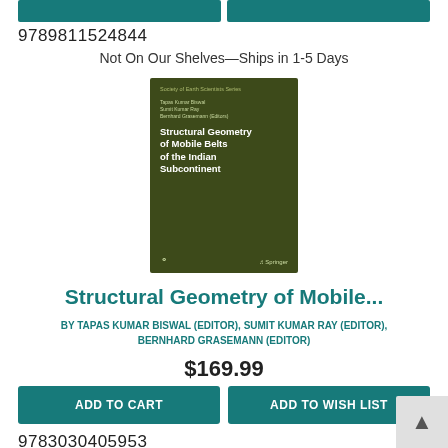[Figure (other): Two teal ADD TO CART and ADD TO WISH LIST buttons at top of page (partially visible)]
9789811524844
Not On Our Shelves—Ships in 1-5 Days
[Figure (photo): Book cover: Structural Geometry of Mobile Belts of the Indian Subcontinent, dark olive/green cover with geological layers pattern, Springer publisher]
Structural Geometry of Mobile...
BY TAPAS KUMAR BISWAL (EDITOR), SUMIT KUMAR RAY (EDITOR), BERNHARD GRASEMANN (EDITOR)
$169.99
ADD TO CART
ADD TO WISH LIST
9783030405953
Not On Our Shelves—Ships in 1-5 Days